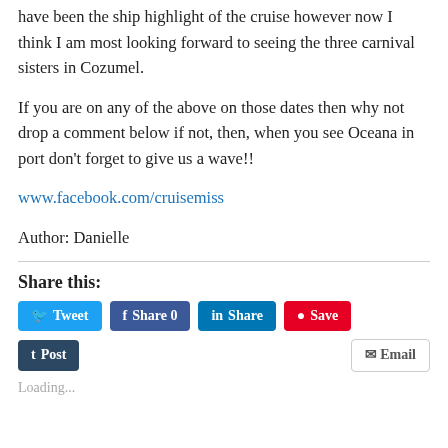have been the ship highlight of the cruise however now I think I am most looking forward to seeing the three carnival sisters in Cozumel.
If you are on any of the above on those dates then why not drop a comment below if not, then, when you see Oceana in port don't forget to give us a wave!!
www.facebook.com/cruisemiss
Author: Danielle
Share this:
Tweet  Share 0  Share  Save  Post  Email  Loading...